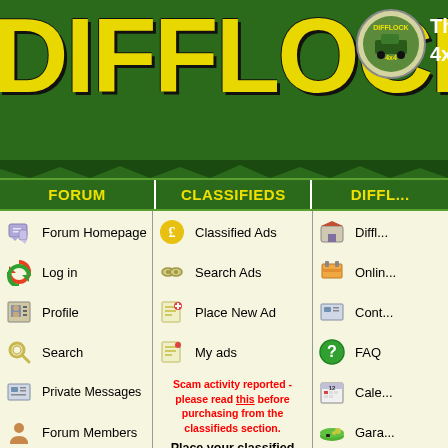DIFFLOCK
FORUM | CLASSIFIEDS | DIFFL...
Forum Homepage
Log in
Profile
Search
Private Messages
Forum Members
Register
Classified Ads
Search Ads
Place New Ad
My ads
Scam activity reported - please read this before purchasing from the classifieds section.
Place your classified ads here for FREE
NB: Adverts placed in the general forum areas will be deleted
Advertise With Us - Reach your target market by advertising on
Click here or call 0845 125 9
Difflock Forum Index
FAQ